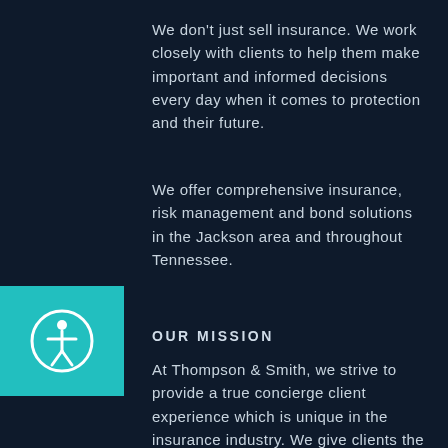We don't just sell insurance. We work closely with clients to help them make important and informed decisions every day when it comes to protection and their future.
We offer comprehensive insurance, risk management and bond solutions in the Jackson area and throughout Tennessee.
[Figure (illustration): Teal square with white accessibility icon (person inside a circle)]
OUR MISSION
At Thompson & Smith, we strive to provide a true concierge client experience which is unique in the insurance industry. We give clients the power of choice from top-rated national and regional insurance carriers.